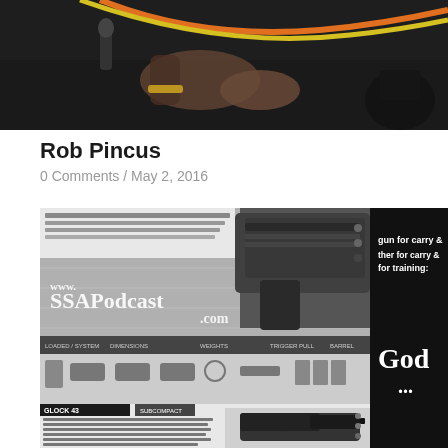[Figure (photo): Dark photo showing hands near equipment with orange and yellow cables/wires on a dark background]
Rob Pincus
0 Comments / May 2, 2016
[Figure (screenshot): Screenshot of SSAPodcast.com website showing Glock 43 pistol product page with specifications and images, overlaid with www.SSAPodcast.com watermark text, and a black sidebar panel with text about gun for carry & other for training: God]